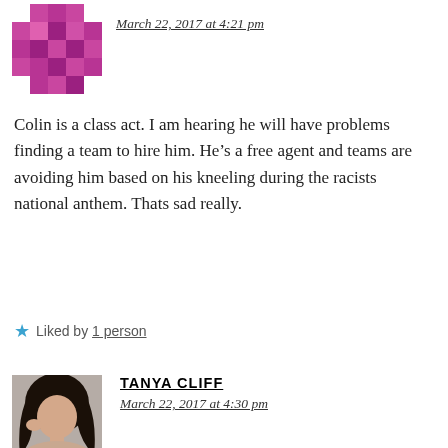[Figure (logo): Purple pixel/mosaic style avatar icon, top left corner]
March 22, 2017 at 4:21 pm
Colin is a class act. I am hearing he will have problems finding a team to hire him. He’s a free agent and teams are avoiding him based on his kneeling during the racists national anthem. Thats sad really.
★ Liked by 1 person
[Figure (photo): Photo of Tanya Cliff, a woman with long dark hair, looking to the side]
TANYA CLIFF
March 22, 2017 at 4:30 pm
People are such cowards. If we are going to have a “national” anthem, it really should be “Lift Every Voice and Sing”…one of countless things that